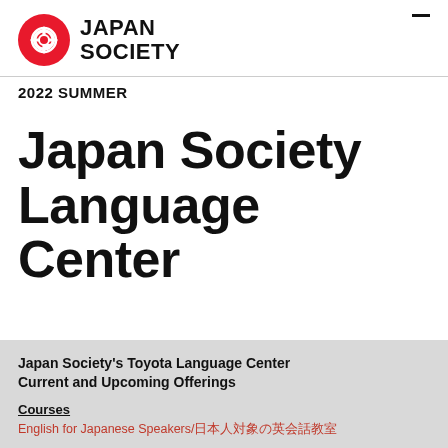[Figure (logo): Japan Society logo: red circle with white stylized symbol, next to bold text reading JAPAN SOCIETY]
2022 SUMMER
Japan Society Language Center
Japan Society's Toyota Language Center Current and Upcoming Offerings
Courses
English for Japanese Speakers/日本人対象の英会話教室